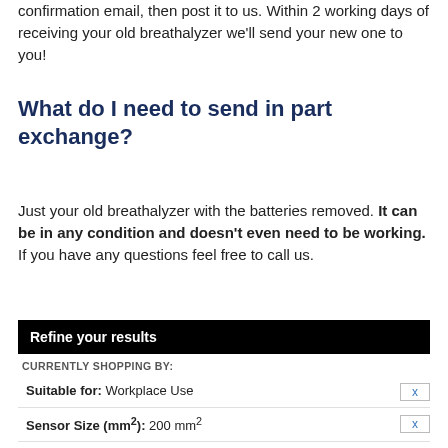confirmation email, then post it to us. Within 2 working days of receiving your old breathalyzer we'll send your new one to you!
What do I need to send in part exchange?
Just your old breathalyzer with the batteries removed. It can be in any condition and doesn't even need to be working.  If you have any questions feel free to call us.
| Suitable for: Workplace Use | x |
| Sensor Size (mm²): 200 mm² | x |
| Adjustable Don't Drive Alert Level: Adjustable - Pre-Loaded Database of Worldwide Limits | x |